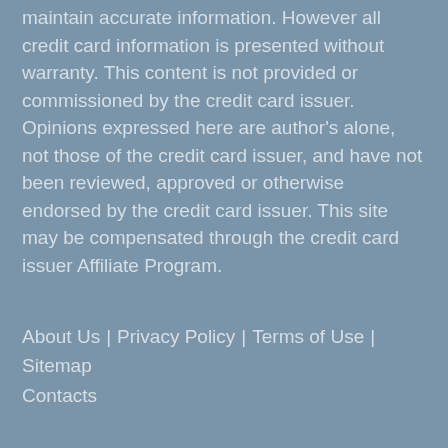maintain accurate information. However all credit card information is presented without warranty. This content is not provided or commissioned by the credit card issuer. Opinions expressed here are author's alone, not those of the credit card issuer, and have not been reviewed, approved or otherwise endorsed by the credit card issuer. This site may be compensated through the credit card issuer Affiliate Program.
About Us  |  Privacy Policy  |  Terms of Use  |  Sitemap  Contacts